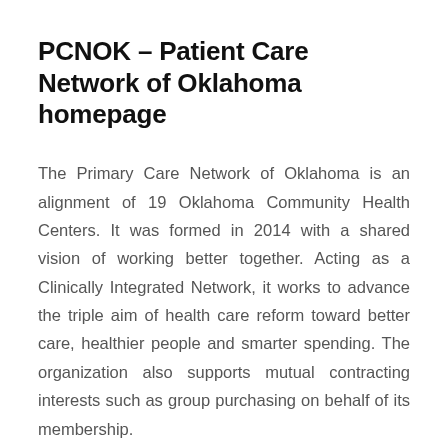PCNOK – Patient Care Network of Oklahoma homepage
The Primary Care Network of Oklahoma is an alignment of 19 Oklahoma Community Health Centers. It was formed in 2014 with a shared vision of working better together. Acting as a Clinically Integrated Network, it works to advance the triple aim of health care reform toward better care, healthier people and smarter spending. The organization also supports mutual contracting interests such as group purchasing on behalf of its membership.